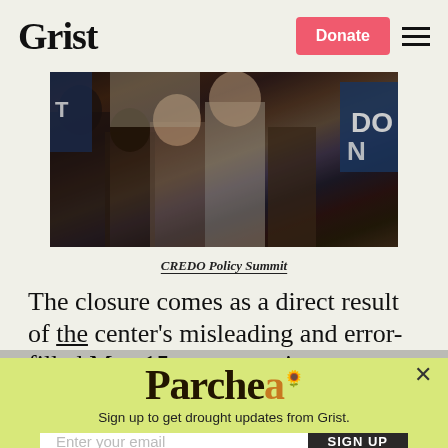Grist | Donate
[Figure (photo): Crowd of people at a protest or policy summit, holding signs, seen from behind]
CREDO Policy Summit
The closure comes as a direct result of the center's misleading and error-filled May 15 report touting a warmer, fuzzier, safer
Parched
Sign up to get drought updates from Grist.
Enter your email  SIGN UP
No thanks